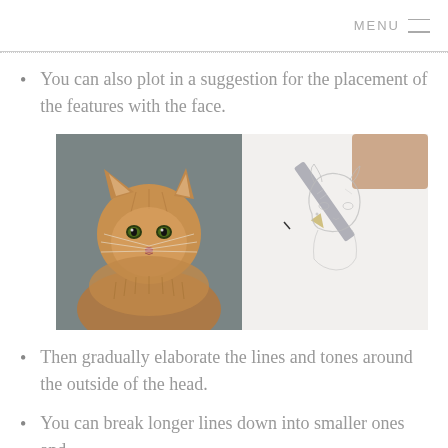MENU ≡
You can also plot in a suggestion for the placement of the features with the face.
[Figure (photo): Two side-by-side images: left shows a fluffy orange Maine Coon cat against a dark grey background; right shows a pencil sketch of a cat head being drawn by hand holding a pencil.]
Then gradually elaborate the lines and tones around the outside of the head.
You can break longer lines down into smaller ones and